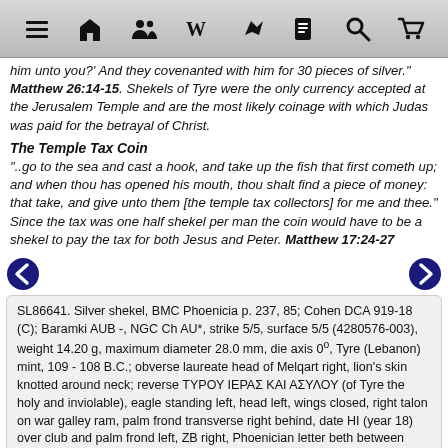[Figure (screenshot): Mobile browser toolbar with hamburger menu, home, people, Wikipedia W, arrow, document, search, and cart icons on gray gradient background]
him unto you?' And they covenanted with him for 30 pieces of silver." Matthew 26:14-15. Shekels of Tyre were the only currency accepted at the Jerusalem Temple and are the most likely coinage with which Judas was paid for the betrayal of Christ.
The Temple Tax Coin
"..go to the sea and cast a hook, and take up the fish that first cometh up; and when thou has opened his mouth, thou shalt find a piece of money: that take, and give unto them [the temple tax collectors] for me and thee." Since the tax was one half shekel per man the coin would have to be a shekel to pay the tax for both Jesus and Peter. Matthew 17:24-27
SL86641. Silver shekel, BMC Phoenicia p. 237, 85; Cohen DCA 919-18 (C); Baramki AUB -, NGC Ch AU*, strike 5/5, surface 5/5 (4280576-003), weight 14.20 g, maximum diameter 28.0 mm, die axis 0°, Tyre (Lebanon) mint, 109 - 108 B.C.; obverse laureate head of Melqart right, lion's skin knotted around neck; reverse ΤΥΡΟΥ ΙΕΡΑΣ ΚΑΙ ΑΣΥΛΟΥ (of Tyre the holy and inviolable), eagle standing left, head left, wings closed, right talon on war galley ram, palm frond transverse right behind, date HI (year 18) over club and palm frond left, ZB right, Phoenician letter beth between legs; NGC| Lookup; SOLD